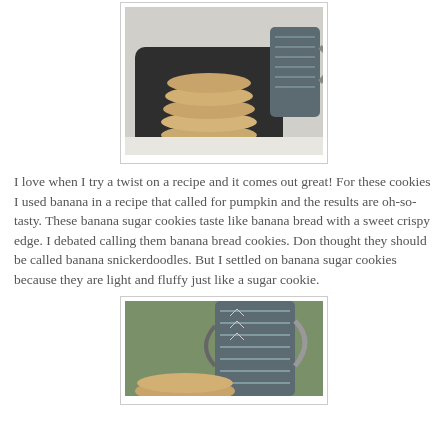[Figure (photo): Stack of oatmeal/sugar cookies on a dark square plate, with a patterned mug in the background, on a light surface]
I love when I try a twist on a recipe and it comes out great! For these cookies I used banana in a recipe that called for pumpkin and the results are oh-so-tasty. These banana sugar cookies taste like banana bread with a sweet crispy edge. I debated calling them banana bread cookies. Don thought they should be called banana snickerdoodles. But I settled on banana sugar cookies because they are light and fluffy just like a sugar cookie.
[Figure (photo): Close-up of a cookie being held in front of a patterned mug with blurred green background]